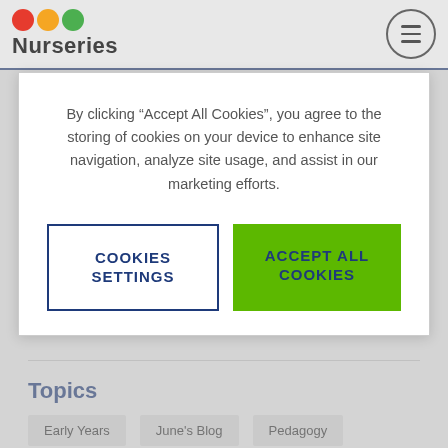LO3 Nurseries
By clicking “Accept All Cookies”, you agree to the storing of cookies on your device to enhance site navigation, analyze site usage, and assist in our marketing efforts.
COOKIES SETTINGS
ACCEPT ALL COOKIES
Jane Osullivan
Topics
Early Years
June's Blog
Pedagogy